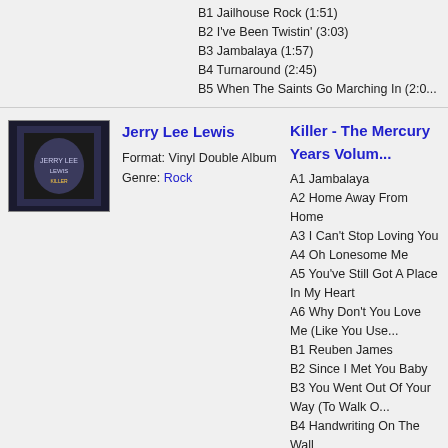B1 Jailhouse Rock (1:51)
B2 I've Been Twistin' (3:03)
B3 Jambalaya (1:57)
B4 Turnaround (2:45)
B5 When The Saints Go Marching In (2:0...
[Figure (photo): Album cover for Jerry Lee Lewis Killer - The Mercury Years]
Jerry Lee Lewis
Format: Vinyl Double Album
Genre: Rock
Killer - The Mercury Years Volume...
A1 Jambalaya
A2 Home Away From Home
A3 I Can't Stop Loving You
A4 Oh Lonesome Me
A5 You've Still Got A Place In My Heart
A6 Why Don't You Love Me (Like You Use...
B1 Reuben James
B2 Since I Met You Baby
B3 You Went Out Of Your Way (To Walk O...
B4 Handwriting On The Wall
B5 You Don't Miss Your Water
B6 One The Jericho Road/I'll Fly Away
C1 Flip, Flop And Fly
C2 Blue Suede Shoes
C3 Stagger Lee
C4 Today I Started Loving You Again
C5 Shoeshine Man
C6 I'm In The Gloryland Way
D1 When He Walks On You (Like You Wa...
D2 Workin' Man Blues
D3 I Get The Blues When It Rains
D4 Please Don't Talk About Me When I'm...
D5 Another Hand Shakin' Goodbye
D6 Me And Bobby McGee
[Figure (photo): Album cover for Jerry Lee Lewis Original Golden Hits - Volume 2]
Jerry Lee Lewis
Format: Vinyl Album
Genre: Country and Western
Original Golden Hits - Volume 2
A1 Fools Like Me (2:49)
A2 Break-Up (2:37)
A3 Money (2:15)
A4 I'll Make It All Up To You (3:02)
A5 Mean Woman Blues (2:36)